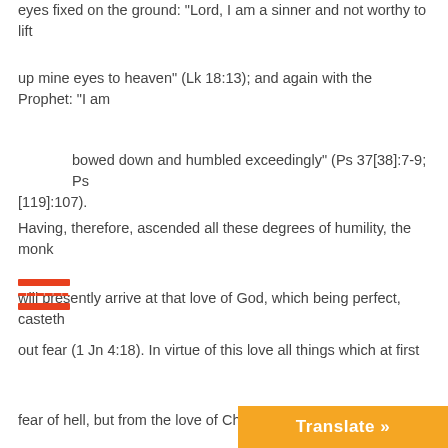eyes fixed on the ground: “Lord, I am a sinner and not worthy to lift
up mine eyes to heaven” (Lk 18:13); and again with the Prophet: “I am
bowed down and humbled exceedingly” (Ps 37[38]:7-9; Ps [119]:107).
Having, therefore, ascended all these degrees of humility, the monk
will presently arrive at that love of God, which being perfect, casteth
out fear (1 Jn 4:18). In virtue of this love all things which at first
he observed not without fear, he will now begin to keep without any
effort, and as it were, naturally by force of habit, no longer from the
fear of hell, but from the love of Christ, from th